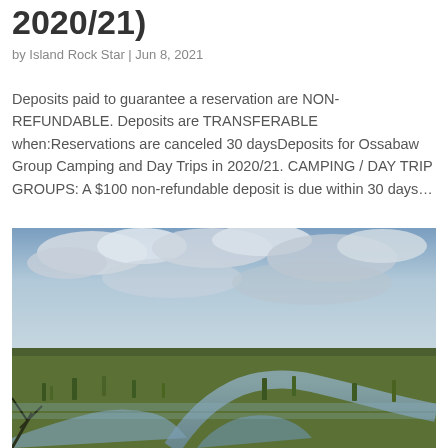2020/21)
by Island Rock Star | Jun 8, 2021
Deposits paid to guarantee a reservation are NON-REFUNDABLE. Deposits are TRANSFERABLE when:Reservations are canceled 30 daysDeposits for Ossabaw Group Camping and Day Trips in 2020/21. CAMPING / DAY TRIP GROUPS: A $100 non-refundable deposit is due within 30 days…
[Figure (photo): Aerial/ground-level view of a coastal marsh wetland with green grasses, winding water channels reflecting a cloudy sky with dramatic clouds overhead.]